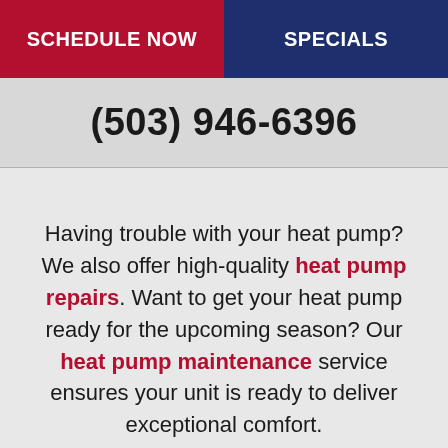SCHEDULE NOW | SPECIALS
(503) 946-6396
Having trouble with your heat pump? We also offer high-quality heat pump repairs. Want to get your heat pump ready for the upcoming season? Our heat pump maintenance service ensures your unit is ready to deliver exceptional comfort.